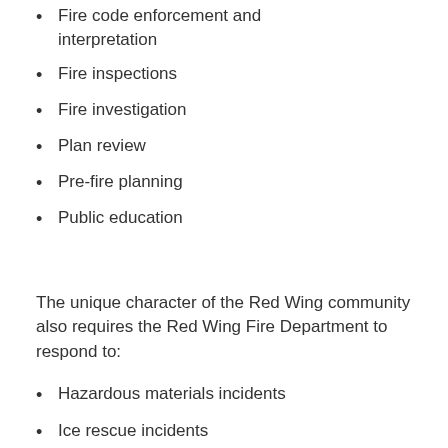Fire code enforcement and interpretation
Fire inspections
Fire investigation
Plan review
Pre-fire planning
Public education
The unique character of the Red Wing community also requires the Red Wing Fire Department to respond to:
Hazardous materials incidents
Ice rescue incidents
Marina and boat fires
Radiological emergencies Repo...